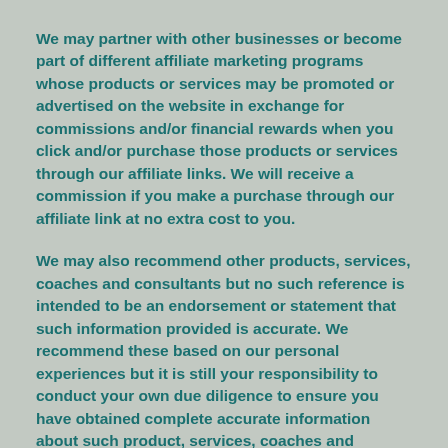We may partner with other businesses or become part of different affiliate marketing programs whose products or services may be promoted or advertised on the website in exchange for commissions and/or financial rewards when you click and/or purchase those products or services through our affiliate links. We will receive a commission if you make a purchase through our affiliate link at no extra cost to you.
We may also recommend other products, services, coaches and consultants but no such reference is intended to be an endorsement or statement that such information provided is accurate. We recommend these based on our personal experiences but it is still your responsibility to conduct your own due diligence to ensure you have obtained complete accurate information about such product, services, coaches and consultants.
These affiliate or third party relationships in no way